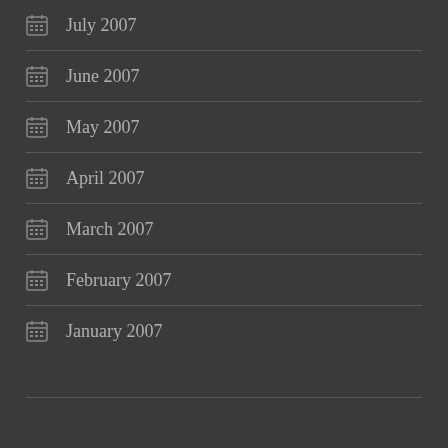July 2007
June 2007
May 2007
April 2007
March 2007
February 2007
January 2007